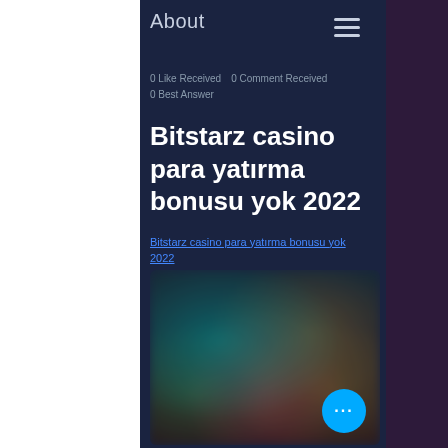About
0 Like Received   0 Comment Received
0 Best Answer
Bitstarz casino para yatırma bonusu yok 2022
Bitstarz casino para yatırma bonusu yok 2022
[Figure (screenshot): Blurred screenshot of a casino game interface showing colorful blurred characters and game elements on a dark background with a floating blue action button with three dots.]